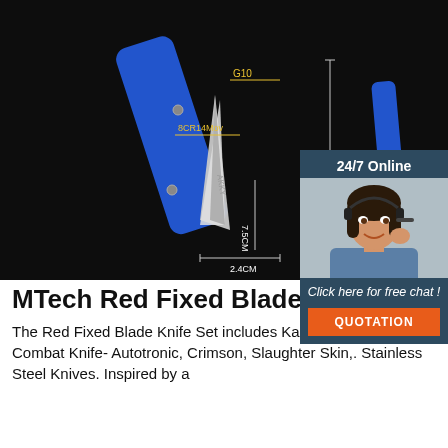[Figure (photo): Product photo of blue folding knives on dark background with yellow dimension annotations showing G10 handle material, 8CR14Mov blade steel, 17.6cm total length, 7.5cm blade, 2.4cm width, 3.4cm closed length. Two views of the knife.]
[Figure (photo): Chat widget overlay showing a woman with headset, '24/7 Online' header, 'Click here for free chat!' text and orange QUOTATION button.]
MTech Red Fixed Blade Knife Set
The Red Fixed Blade Knife Set includes Karambit, Huntsman, Combat Knife- Autotronic, Crimson, Slaughter Skin,. Stainless Steel Knives. Inspired by a